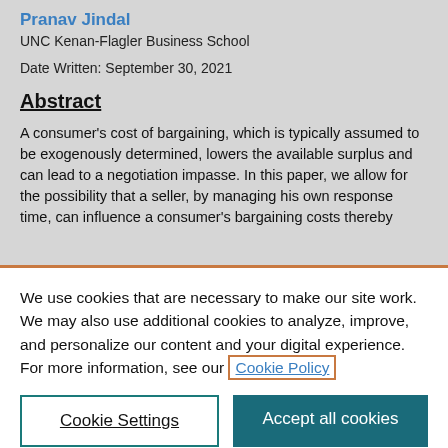Pranav Jindal
UNC Kenan-Flagler Business School
Date Written: September 30, 2021
Abstract
A consumer's cost of bargaining, which is typically assumed to be exogenously determined, lowers the available surplus and can lead to a negotiation impasse. In this paper, we allow for the possibility that a seller, by managing his own response time, can influence a consumer's bargaining costs thereby
We use cookies that are necessary to make our site work. We may also use additional cookies to analyze, improve, and personalize our content and your digital experience. For more information, see our Cookie Policy
Cookie Settings
Accept all cookies